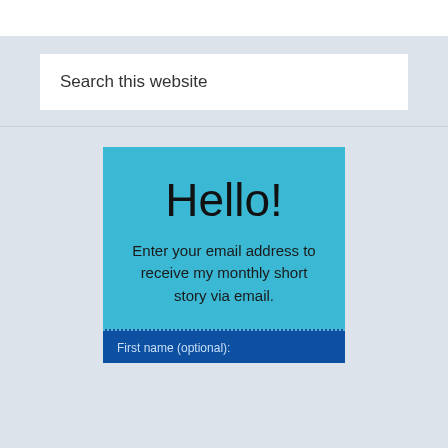Search this website
Hello!
Enter your email address to receive my monthly short story via email.
First name (optional):